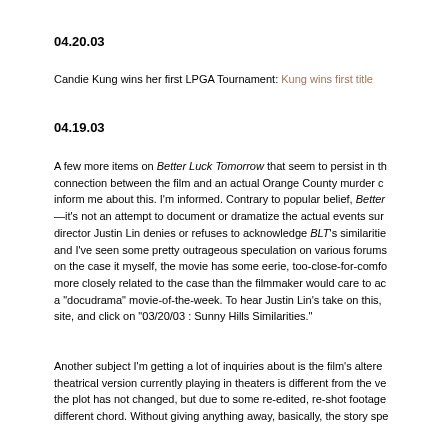04.20.03
Candie Kung wins her first LPGA Tournament: Kung wins first title
04.19.03
A few more items on Better Luck Tomorrow that seem to persist in the connection between the film and an actual Orange County murder c inform me about this. I'm informed. Contrary to popular belief, Better —it's not an attempt to document or dramatize the actual events sur director Justin Lin denies or refuses to acknowledge BLT's similarities and I've seen some pretty outrageous speculation on various forums on the case it myself, the movie has some eerie, too-close-for-comfo more closely related to the case than the filmmaker would care to ac a "docudrama" movie-of-the-week. To hear Justin Lin's take on this, site, and click on "03/20/03 : Sunny Hills Similarities."
Another subject I'm getting a lot of inquiries about is the film's altere theatrical version currently playing in theaters is different from the ve the plot has not changed, but due to some re-edited, re-shot footage different chord. Without giving anything away, basically, the story spe